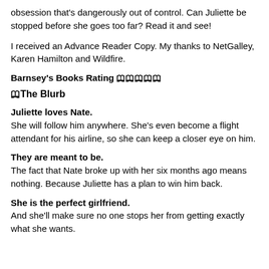obsession that's dangerously out of control. Can Juliette be stopped before she goes too far? Read it and see!
I received an Advance Reader Copy. My thanks to NetGalley, Karen Hamilton and Wildfire.
Barnsey's Books Rating 📖📖📖📖📖
📖The Blurb
Juliette loves Nate.
She will follow him anywhere. She's even become a flight attendant for his airline, so she can keep a closer eye on him.
They are meant to be.
The fact that Nate broke up with her six months ago means nothing. Because Juliette has a plan to win him back.
She is the perfect girlfriend.
And she'll make sure no one stops her from getting exactly what she wants.